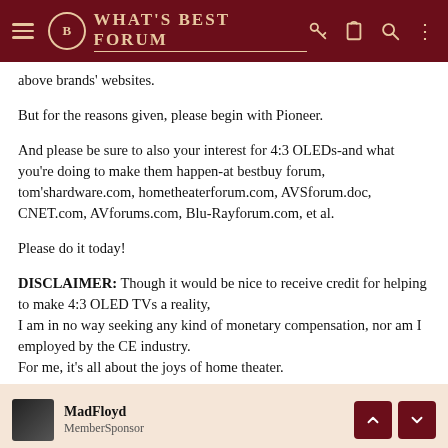What's Best Forum
above brands' websites.
But for the reasons given, please begin with Pioneer.
And please be sure to also your interest for 4:3 OLEDs-and what you're doing to make them happen-at bestbuy forum, tom'shardware.com, hometheaterforum.com, AVSforum.doc, CNET.com, AVforums.com, Blu-Rayforum.com, et al.
Please do it today!
DISCLAIMER: Though it would be nice to receive credit for helping to make 4:3 OLED TVs a reality, I am in no way seeking any kind of monetary compensation, nor am I employed by the CE industry. For me, it's all about the joys of home theater.
MadFloyd
MemberSponsor